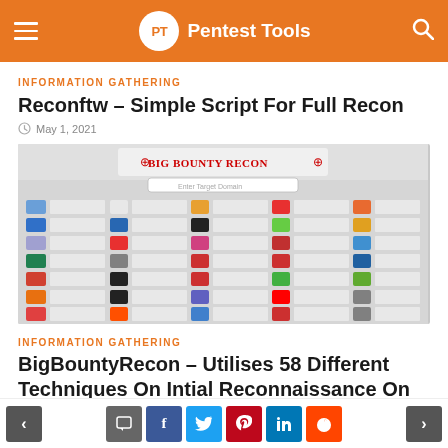PT Pentest Tools
INFORMATION GATHERING
Reconftw – Simple Script For Full Recon
May 1, 2021
[Figure (screenshot): Big Bounty Recon tool interface showing a grid of various security and reconnaissance tool icons/logos with Enter Target Domain input field]
INFORMATION GATHERING
BigBountyRecon – Utilises 58 Different Techniques On Intial Reconnaissance On...